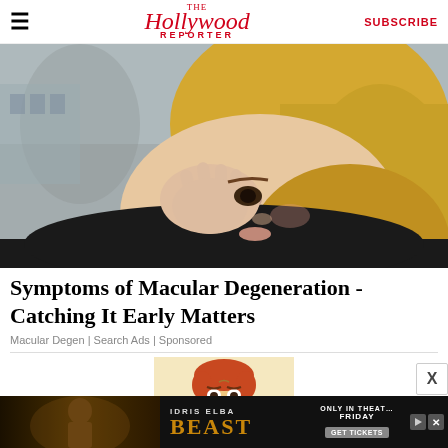The Hollywood Reporter | SUBSCRIBE
[Figure (photo): A blonde woman touching near her eye with her hand, looking distressed, photographed outdoors with blurred background.]
Symptoms of Macular Degeneration - Catching It Early Matters
Macular Degen | Search Ads | Sponsored
[Figure (illustration): Cartoon illustration of a sad-looking boy character with orange hair, part of an advertisement.]
[Figure (photo): Bottom banner advertisement for the movie 'Beast' starring Idris Elba. Text reads: IDRIS ELBA, BEAST, ONLY IN THEATERS FRIDAY, GET TICKETS.]